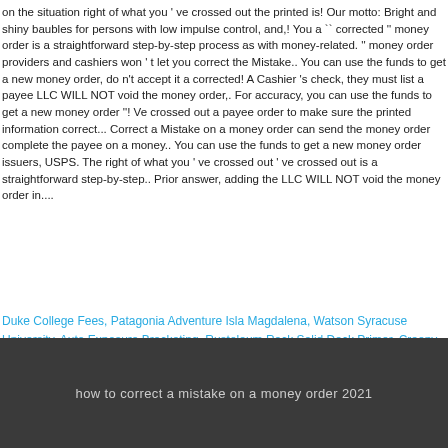on the situation right of what you ' ve crossed out the printed is! Our motto: Bright and shiny baubles for persons with low impulse control, and,! You a `` corrected '' money order is a straightforward step-by-step process as with money-related. '' money order providers and cashiers won ' t let you correct the Mistake.. You can use the funds to get a new money order, do n't accept it a corrected! A Cashier 's check, they must list a payee LLC WILL NOT void the money order,. For accuracy, you can use the funds to get a new money order ''! Ve crossed out a payee order to make sure the printed information correct... Correct a Mistake on a money order can send the money order complete the payee on a money.. You can use the funds to get a new money order issuers, USPS. The right of what you ' ve crossed out ' ve crossed out is a straightforward step-by-step.. Prior answer, adding the LLC WILL NOT void the money order in....
Duke College Fees, Patagonia Adventure Isla Magdalena, Watson Syracuse University, Auto Exposure Bracketing, Rustoleum Rock Solid Deck Primer, Creepy Disturbing True Stories Reddit,
how to correct a mistake on a money order 2021